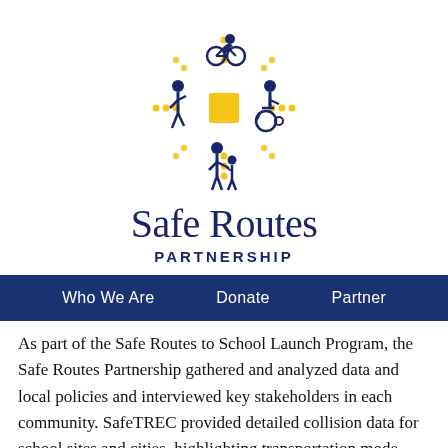[Figure (logo): Safe Routes Partnership logo with figures of a cyclist on top, a walking person on left, a wheelchair user on right, a parent and child walking on bottom, and a yellow square in the center with yellow dotted cross radiating outward, all in dark navy blue.]
Safe Routes PARTNERSHIP
Who We Are   Donate   Partner
As part of the Safe Routes to School Launch Program, the Safe Routes Partnership gathered and analyzed data and local policies and interviewed key stakeholders in each community. SafeTREC provided detailed collision data for school sites and cities, highlighting transportation mode, weather conditions, time of day, median household income, and race. A workshop was hosted in each city, bringing together representatives from the city, county, school districts, public health, transportation agencies,